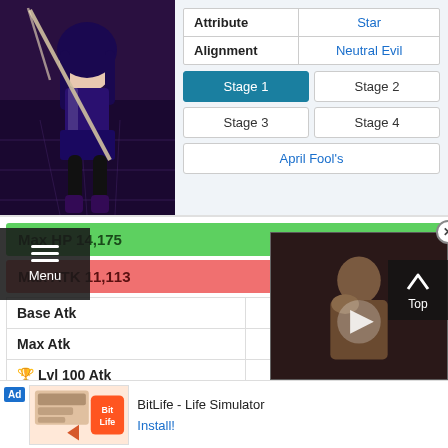[Figure (illustration): Game character artwork - anime-style female character in dark outfit]
| Attribute | Star |
| --- | --- |
| Attribute | Star |
| Alignment | Neutral Evil |
Stage 1 (active), Stage 2, Stage 3, Stage 4, April Fool's
Max HP 14,175   HP Rank: 49/358
Max ATK 11,113   ATK Rank: 94/358
| Stat | Value |
| --- | --- |
| Base Atk | 1,717 |
| Max Atk | 11,113 |
| Lvl 100 Atk | 12,165 |
[Figure (screenshot): Video ad overlay showing a bald character, with play button]
Top
Menu
[Figure (screenshot): BitLife - Life Simulator advertisement banner at bottom of page]